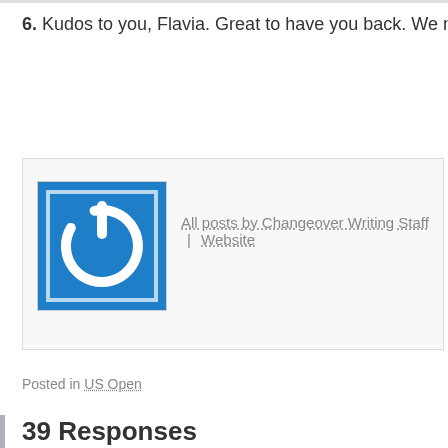6. Kudos to you, Flavia. Great to have you back. We need your ba
[Figure (logo): Blue square avatar with white power button icon]
All posts by Changeover Writing Staff | Website
Posted in US Open
39 Responses
[Figure (logo): Blue square avatar with white power button icon]
Faye September 5, 2013 at 2:27 am | Permalink
I'm from the Philippines so I usually stay up really m matches. And boy was Gasquet-Ferrer worth it. I could just wa to watch especially in the wee hours of the morning.
After all the chaotic excitement of Wimbledon, you can sa